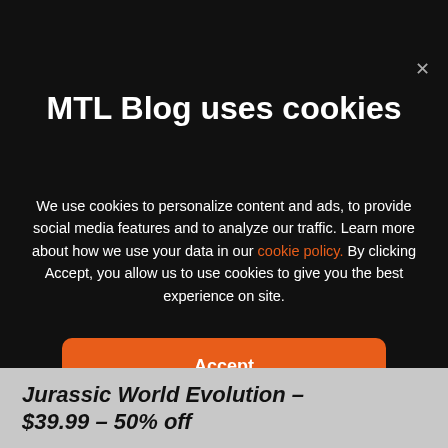MTL Blog uses cookies
We use cookies to personalize content and ads, to provide social media features and to analyze our traffic. Learn more about how we use your data in our cookie policy. By clicking Accept, you allow us to use cookies to give you the best experience on site.
Accept
Jurassic World Evolution – $39.99 – 50% off